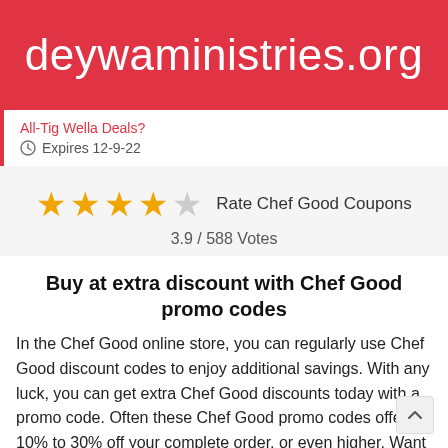deywaministries.org
All-Tig Wella Deals?
Expires 12-9-22
[Figure (other): 4 out of 5 star rating with text 'Rate Chef Good Coupons']
3.9 / 588 Votes
Buy at extra discount with Chef Good promo codes
In the Chef Good online store, you can regularly use Chef Good discount codes to enjoy additional savings. With any luck, you can get extra Chef Good discounts today with a promo code. Often these Chef Good promo codes offer 10% to 30% off your complete order, or even higher. Want to save money, with deywaministries.org, you can always save money. Here you will find everything you need to get discounts on online shopping. We have hundreds of exclusive